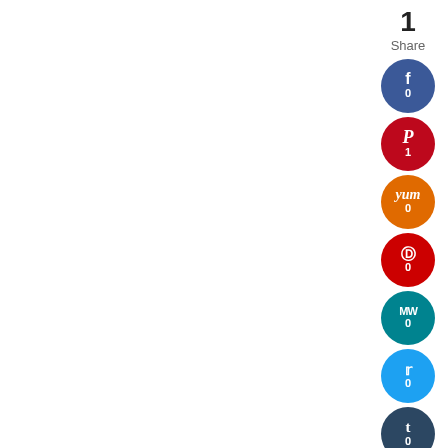1
Share
[Figure (infographic): Social share buttons sidebar: Facebook (0), Pinterest (1), Yummly (0), Parler (0), MeWe (0), Twitter (0), Tumblr (0), Print (0), Email (0)]
Whaaaaa? It feels like just yesterday we were tackling this space! Hard to believe we wrapped it up back in April, but I never did a “full reveal.” Whoops! I promise to get that up for you sometime in the new year (it will most likely be post dated), but if you’d like to check out all the mini projects along the way you can find them